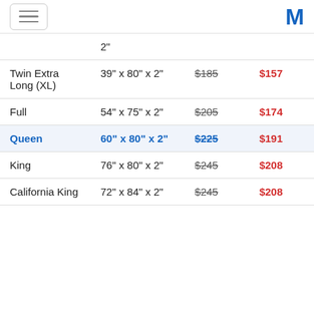Navigation menu and logo
| Size | Dimensions | Original Price | Sale Price |
| --- | --- | --- | --- |
|  | 2" |  |  |
| Twin Extra Long (XL) | 39" x 80" x 2" | $185 | $157 |
| Full | 54" x 75" x 2" | $205 | $174 |
| Queen | 60" x 80" x 2" | $225 | $191 |
| King | 76" x 80" x 2" | $245 | $208 |
| California King | 72" x 84" x 2" | $245 | $208 |